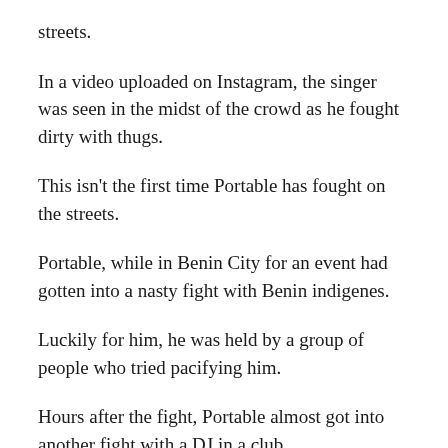streets.
In a video uploaded on Instagram, the singer was seen in the midst of the crowd as he fought dirty with thugs.
This isn't the first time Portable has fought on the streets.
Portable, while in Benin City for an event had gotten into a nasty fight with Benin indigenes.
Luckily for him, he was held by a group of people who tried pacifying him.
Hours after the fight, Portable almost got into another fight with a DJ in a club.
The singer infuriated and instigated with the crew, the DJ...